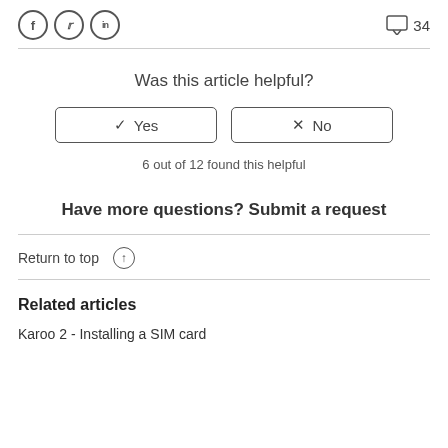[Figure (other): Social media share icons (Facebook, Twitter, LinkedIn) and a comment icon with count 34]
Was this article helpful?
✓ Yes   ×  No
6 out of 12 found this helpful
Have more questions? Submit a request
Return to top ↑
Related articles
Karoo 2 - Installing a SIM card